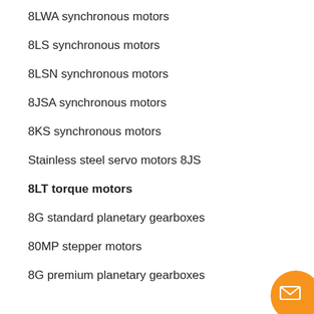8LWA synchronous motors
8LS synchronous motors
8LSN synchronous motors
8JSA synchronous motors
8KS synchronous motors
Stainless steel servo motors 8JS
8LT torque motors
8G standard planetary gearboxes
80MP stepper motors
8G premium planetary gearboxes
8G economy planetary gearboxes
Mechatronic systems
Robotics